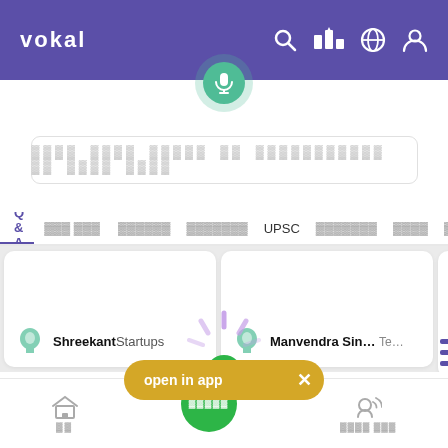vokal
[Figure (screenshot): Vokal app mobile screenshot showing search bar with microphone button, category tabs (Q&A, UPSC etc.), content cards with user profiles (Shreekant Startups, Manvendra Sin... Te...), open in app banner, loading spinner, and bottom navigation bar]
Q & A   UPSC
ShreekantStartups
Manvendra Sin... Te...
open in app
होम   बोलें   मेरा वॉट